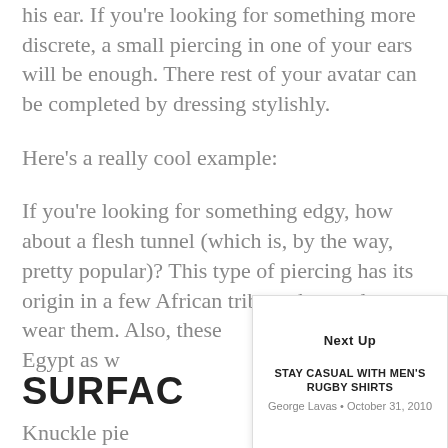his ear. If you're looking for something more discrete, a small piercing in one of your ears will be enough. There rest of your avatar can be completed by dressing stylishly.
Here's a really cool example:
If you're looking for something edgy, how about a flesh tunnel (which is, by the way, pretty popular)? This type of piercing has its origin in a few African tribes who used to wear them. Also, these Egypt as w
SURFA
Knuckle pie
Next Up
STAY CASUAL WITH MEN'S RUGBY SHIRTS
George Lavas • October 31, 2010